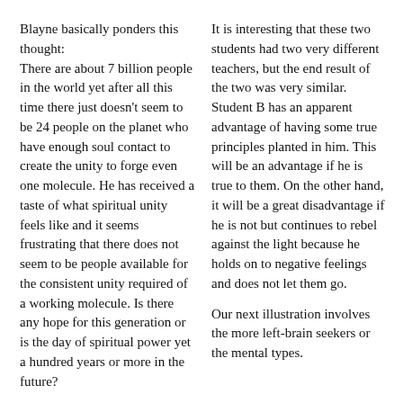Blayne basically ponders this thought:
There are about 7 billion people in the world yet after all this time there just doesn't seem to be 24 people on the planet who have enough soul contact to create the unity to forge even one molecule. He has received a taste of what spiritual unity feels like and it seems frustrating that there does not seem to be people available for the consistent unity required of a working molecule. Is there any hope for this generation or is the day of spiritual power yet a hundred years or more in the future?
It is interesting that these two students had two very different teachers, but the end result of the two was very similar. Student B has an apparent advantage of having some true principles planted in him. This will be an advantage if he is true to them. On the other hand, it will be a great disadvantage if he is not but continues to rebel against the light because he holds on to negative feelings and does not let them go.
Our next illustration involves the more left-brain seekers or the mental types.
JJ
John was a frustration. I first
We have the same teachers, A